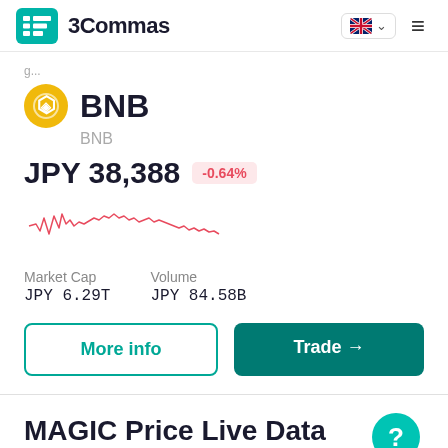3Commas
BNB
BNB
JPY 38,388  -0.64%
[Figure (continuous-plot): Small pink/red sparkline chart showing BNB price movement over time, generally fluctuating with a slight downward trend]
Market Cap
JPY 6.29T
Volume
JPY 84.58B
More info
Trade →
MAGIC Price Live Data